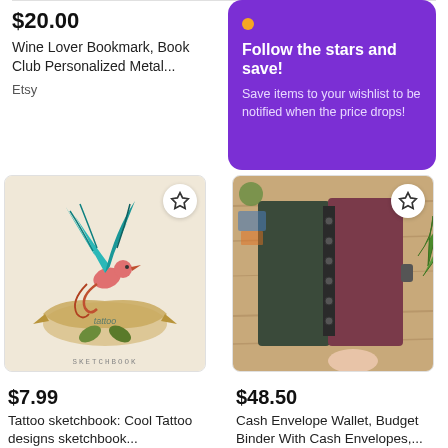$20.00
Wine Lover Bookmark, Book Club Personalized Metal...
Etsy
[Figure (infographic): Purple promotional banner with orange dot, headline 'Follow the stars and save!' and body text 'Save items to your wishlist to be notified when the price drops!']
[Figure (illustration): Tattoo sketchbook cover illustration showing a colorful swallow bird with teal and red wings perched on a banner scroll with leaves, labeled 'tattoo' and 'SKETCHBOOK' at bottom]
$7.99
Tattoo sketchbook: Cool Tattoo designs sketchbook...
Walmart
[Figure (photo): Overhead photo of a leather binder/cash envelope wallet with brown and dark green covers open on a wooden table, with a green palm leaf and small plant visible]
$48.50
Cash Envelope Wallet, Budget Binder With Cash Envelopes,...
Etsy